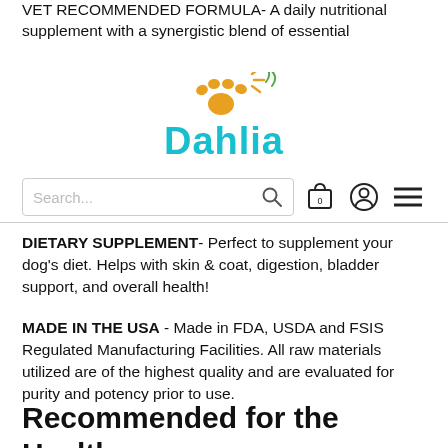VET RECOMMENDED FORMULA- A daily nutritional supplement with a synergistic blend of essential
[Figure (logo): Dahlia pet brand logo with a paw print icon and stylized 'Dahlia' text in cyan/teal color]
[Figure (screenshot): Website navigation bar with search box, search icon, cart icon (0), user icon, and hamburger menu icon]
DIETARY SUPPLEMENT- Perfect to supplement your dog's diet. Helps with skin & coat, digestion, bladder support, and overall health!
MADE IN THE USA - Made in FDA, USDA and FSIS Regulated Manufacturing Facilities. All raw materials utilized are of the highest quality and are evaluated for purity and potency prior to use.
Recommended for the Healthy